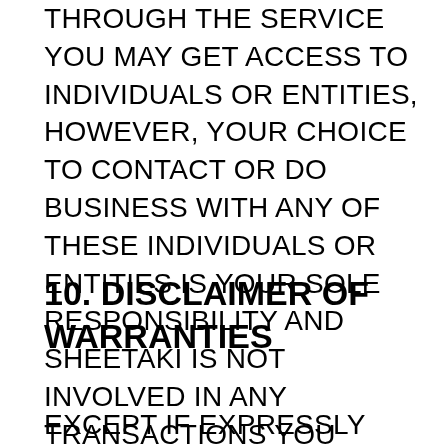THROUGH THE SERVICE YOU MAY GET ACCESS TO INDIVIDUALS OR ENTITIES, HOWEVER, YOUR CHOICE TO CONTACT OR DO BUSINESS WITH ANY OF THESE INDIVIDUALS OR ENTITIES IS YOUR SOLE RESPONSIBILITY AND SHEETAKI IS NOT INVOLVED IN ANY TRANSACTIONS YOU HAVE WITH ANY THIRD PARTIES.
10. DISCLAIMER OF WARRANTIES
EXCEPT IF EXPRESSLY PROVIDED